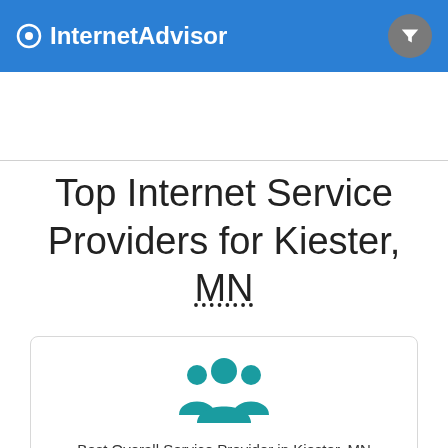InternetAdvisor
Top Internet Service Providers for Kiester, MN
[Figure (illustration): Teal group of people icon representing community/service provider]
Best Overall Service Provider in Kiester, MN
HughesNet